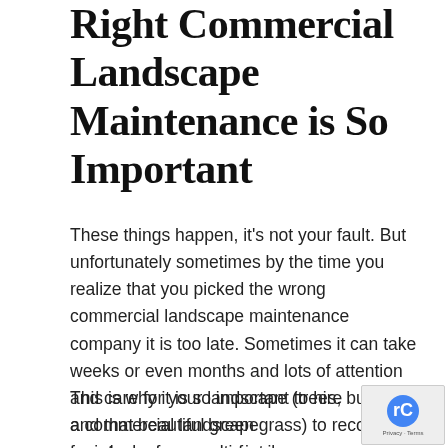Right Commercial Landscape Maintenance is So Important
These things happen, it's not your fault. But unfortunately sometimes by the time you realize that you picked the wrong commercial landscape maintenance company it is too late. Sometimes it can take weeks or even months and lots of attention and care for your landscape (trees, bushes, and that beautiful green grass) to recover from lack of proper maintenance.
This is why it is so important to hire a commercial landscape maintenance or multi-family property landscaper in AZ that is truly committed to